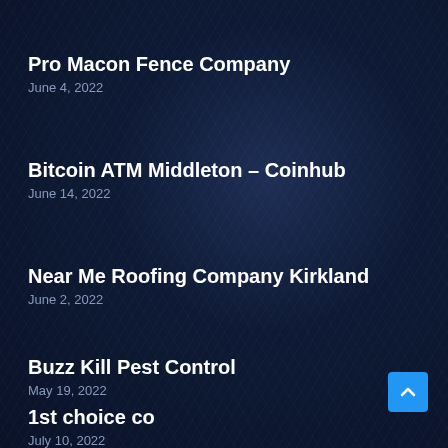Pro Macon Fence Company
June 4, 2022
Bitcoin ATM Middleton – Coinhub
June 14, 2022
Near Me Roofing Company Kirkland
June 2, 2022
Buzz Kill Pest Control
May 19, 2022
1st choice co
July 10, 2022